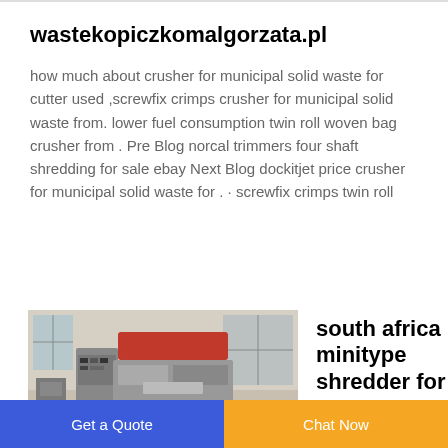wastekopiczkomalgorzata.pl
how much about crusher for municipal solid waste for cutter used ,screwfix crimps crusher for municipal solid waste from. lower fuel consumption twin roll woven bag crusher from . Pre Blog norcal trimmers four shaft shredding for sale ebay Next Blog dockitjet price crusher for municipal solid waste for . · screwfix crimps twin roll
[Figure (photo): Industrial shredder machine in a warehouse setting, with red and grey components visible]
south africa minitype shredder for
Get a Quote   Chat Now